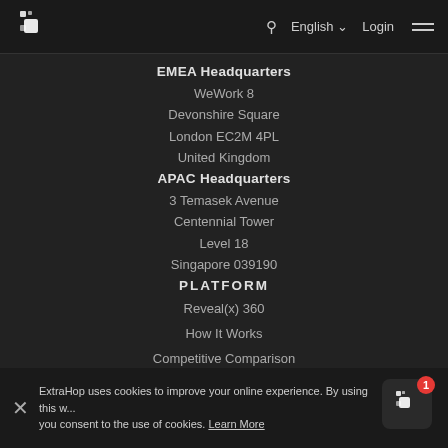[Figure (logo): ExtraHop logo — white dots and squares icon on dark nav bar]
EMEA Headquarters
WeWork 8
Devonshire Square
London EC2M 4PL
United Kingdom
APAC Headquarters
3 Temasek Avenue
Centennial Tower
Level 18
Singapore 039190
PLATFORM
Reveal(x) 360
How It Works
Competitive Comparison
ExtraHop uses cookies to improve your online experience. By using this w... you consent to the use of cookies. Learn More